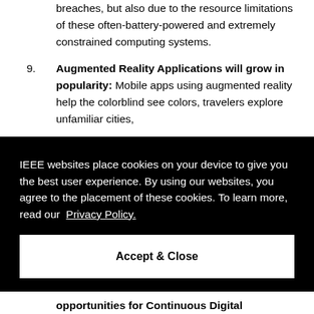breaches, but also due to the resource limitations of these often-battery-powered and extremely constrained computing systems.
9. Augmented Reality Applications will grow in popularity: Mobile apps using augmented reality help the colorblind see colors, travelers explore unfamiliar cities,
IEEE websites place cookies on your device to give you the best user experience. By using our websites, you agree to the placement of these cookies. To learn more, read our Privacy Policy.
Accept & Close
opportunities for Continuous Digital